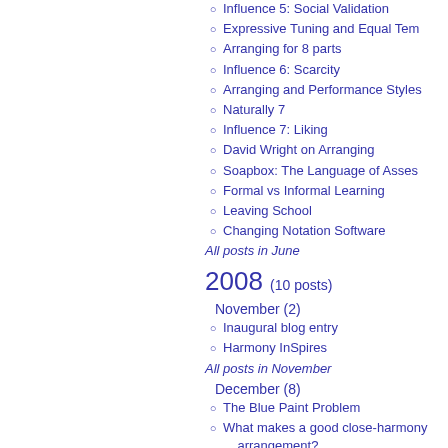Influence 5: Social Validation
Expressive Tuning and Equal Tem
Arranging for 8 parts
Influence 6: Scarcity
Arranging and Performance Styles
Naturally 7
Influence 7: Liking
David Wright on Arranging
Soapbox: The Language of Asses
Formal vs Informal Learning
Leaving School
Changing Notation Software
All posts in June
2008 (10 posts)
November (2)
Inaugural blog entry
Harmony InSpires
All posts in November
December (8)
The Blue Paint Problem
What makes a good close-harmony arrangement?
Dilemma: Singers with Colds
Soapbox: Against Note-Bashing
Tom Metzger on the Inner Game o
The Arranging Process
Why do people miss rehearsals?